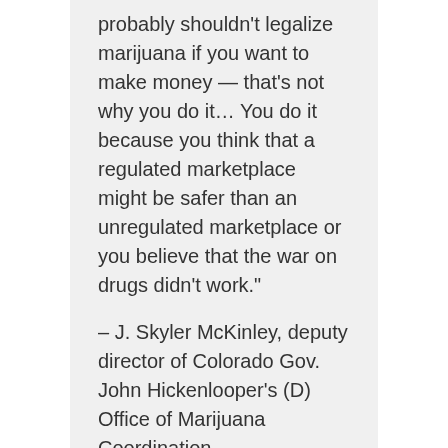probably shouldn't legalize marijuana if you want to make money — that's not why you do it… You do it because you think that a regulated marketplace might be safer than an unregulated marketplace or you believe that the war on drugs didn't work."

– J. Skyler McKinley, deputy director of Colorado Gov. John Hickenlooper's (D) Office of Marijuana Coordination.
California Legalization: Consider the Children
California is expected to see a cannabis legalization measure on the 2016 ballot, and it is encouraging that legislators in America are bringing up how to handle this